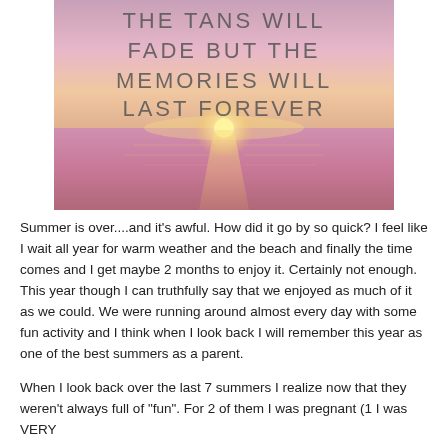[Figure (illustration): Beach sunset image with pink and purple hues, ocean horizon, overlaid with text reading: THE TANS WILL FADE BUT THE MEMORIES WILL LAST FOREVER]
Summer is over....and it's awful. How did it go by so quick? I feel like I wait all year for warm weather and the beach and finally the time comes and I get maybe 2 months to enjoy it. Certainly not enough. This year though I can truthfully say that we enjoyed as much of it as we could. We were running around almost every day with some fun activity and I think when I look back I will remember this year as one of the best summers as a parent.
When I look back over the last 7 summers I realize now that they weren't always full of "fun". For 2 of them I was pregnant (1 I was VERY